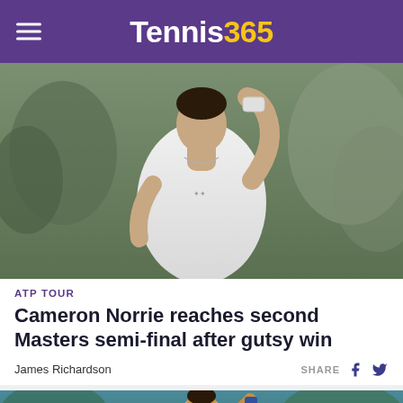Tennis365
[Figure (photo): Tennis player in white shirt with hand raised to head, wearing a wristband and necklace, crowd blurred in background]
ATP TOUR
Cameron Norrie reaches second Masters semi-final after gutsy win
James Richardson
SHARE
[Figure (photo): Tennis player serving or celebrating on a hard court, wearing white with blue wristband, crowd visible in background]